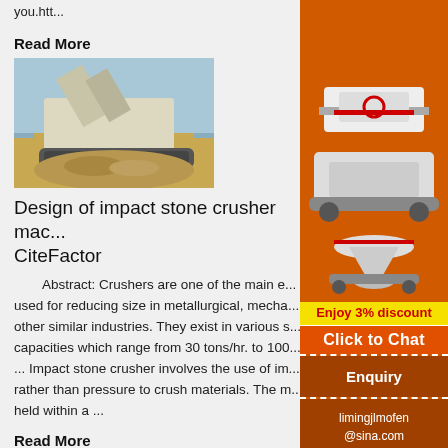you.htt...
Read More
[Figure (photo): A mobile impact stone crusher machine outdoors with a pile of crushed stones in front of it.]
Design of impact stone crusher mac... CiteFactor
Abstract: Crushers are one of the main e... used for reducing size in metallurgical, mecha... other similar industries. They exist in various s... capacities which range from 30 tons/hr. to 100... ... Impact stone crusher involves the use of im... rather than pressure to crush materials. The m... held within a ...
Read More
[Figure (photo): Bottom image partially visible, appears to show crushed stone or aggregate material.]
[Figure (illustration): Orange sidebar advertisement showing mining/crushing machinery with text: Enjoy 3% discount, Click to Chat, Enquiry, limingjlmofen@sina.com]